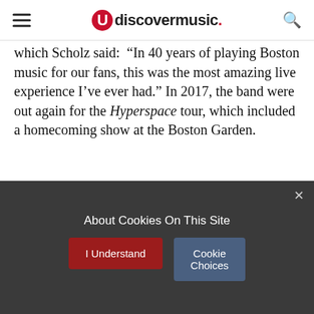udiscovermusic.
which Scholz said: “In 40 years of playing Boston music for our fans, this was the most amazing live experience I’ve ever had.” In 2017, the band were out again for the Hyperspace tour, which included a homecoming show at the Boston Garden.
Buy or stream “Amanda” on the album Third Stage.
About Cookies On This Site
I Understand
Cookie Choices